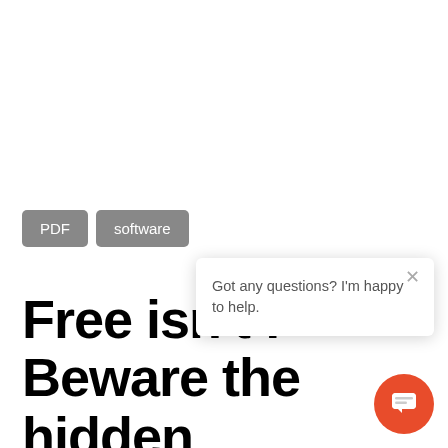PDF
software
Free isn't free: Beware the Hidden Costs of Commoditized
Got any questions? I'm happy to help.